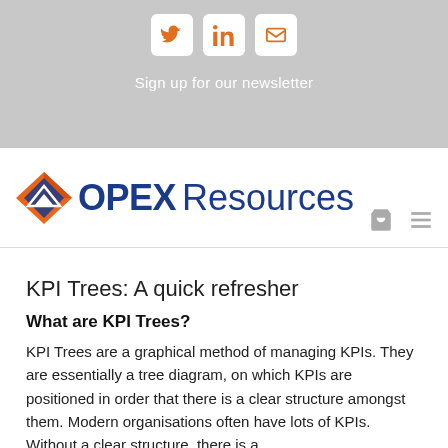[Figure (other): Social media icons: Twitter, LinkedIn, Email in white rounded boxes on grey background]
Sign up for our newsletter
[Figure (logo): OPEX Resources logo with orange/blue diamond chevron icon and blue bold text]
KPI Trees: A quick refresher
What are KPI Trees?
KPI Trees are a graphical method of managing KPIs. They are essentially a tree diagram, on which KPIs are positioned in order that there is a clear structure amongst them. Modern organisations often have lots of KPIs. Without a clear structure, there is a